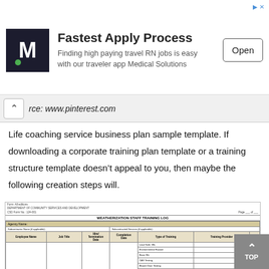[Figure (screenshot): Advertisement banner for Medical Solutions travel RN jobs app with 'Fastest Apply Process' heading and Open button]
rce: www.pinterest.com
Life coaching service business plan sample template. If downloading a corporate training plan template or a training structure template doesn't appeal to you, then maybe the following creation steps will.
[Figure (table-as-image): Weatherization Staff Training Log table with columns for Employee Name, Job Title, Hire/Termination Date, Completion Date, Type of Training, Training Provider, and checkboxes]